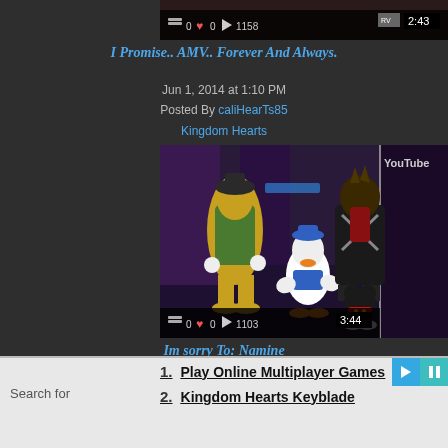[Figure (screenshot): Video thumbnail for 'I Promise.. AMV.. Forever And Always.' with controls bar showing 0 comments, 0 likes, 1158 views, duration 2:43]
I Promise.. AMV.. Forever And Always.
Jun 1, 2014 at 1:10 PM
Posted By caliHearTs85
Kingdom Hearts
[Figure (screenshot): Video thumbnail showing Kingdom Hearts characters (Goofy, Donald Duck, Sora, Mickey Mouse) from behind in a dark hallway, YouTube logo visible, controls bar showing 0 comments, 0 likes, 1103 views, duration 3:44]
Im sorry To: Namine
Apr 6, 2014 at 11:01 AM
Posted By caliHearTs85
Search for
1. Play Online Multiplayer Games
2. Kingdom Hearts Keyblade